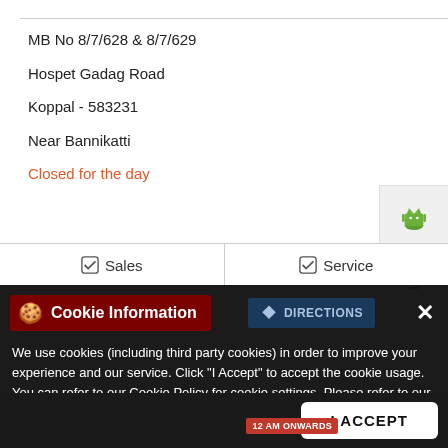MB No 8/7/628 & 8/7/629
Hospet Gadag Road
Koppal - 583231
Near Bannikatti
Closed for the day
[Figure (logo): Android robot icon (green)]
[Figure (logo): Apple logo icon (dark)]
✅ Sales    ✅ Service
Cookie Information
We use cookies (including third party cookies) in order to improve your experience and our service. Click "I Accept" to accept the cookie usage. You can refer to our Cookie Policy for cookie settings. Please refer to our Privacy Policy, Terms of Use, Disclaimer, Rules & Regulations and Data Collection Contract or more information on personal data usage.
I ACCEPT